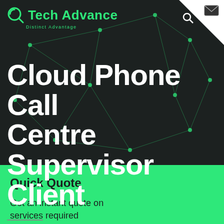[Figure (screenshot): Tech Advance company logo with green circular icon and 'Tech Advance / Distinct Advantage' text in green, followed by search and menu icons in the navigation bar]
Cloud Phone Call Centre Supervisor Client
Quick Quote
Get an instant quote on services required